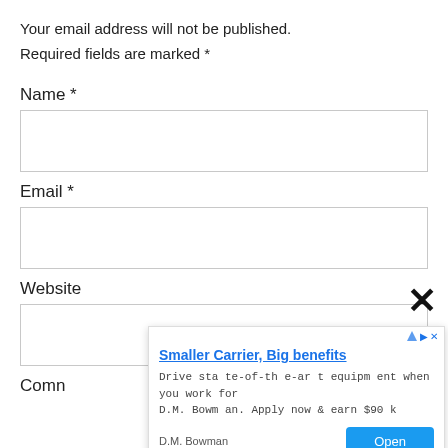Your email address will not be published.
Required fields are marked *
Name *
Email *
Website
Comn
[Figure (screenshot): Ad overlay popup with title 'Smaller Carrier, Big benefits', description 'Drive state-of-the-art equipment when you work for D.M. Bowman. Apply now & earn $90k', sponsor 'D.M. Bowman', and an 'Open' button. Has a close X button and AdChoices icon.]